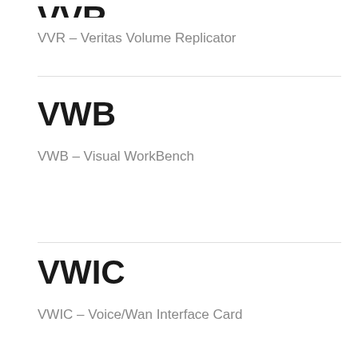VVR
VVR – Veritas Volume Replicator
VWB
VWB – Visual WorkBench
VWIC
VWIC – Voice/Wan Interface Card